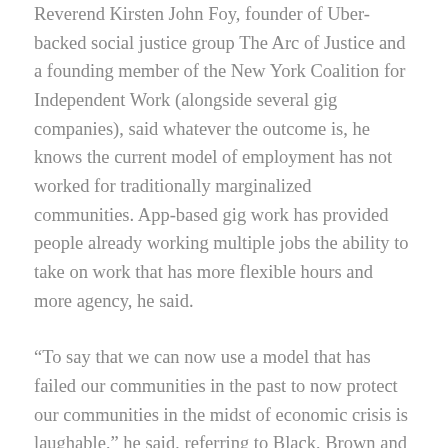Reverend Kirsten John Foy, founder of Uber-backed social justice group The Arc of Justice and a founding member of the New York Coalition for Independent Work (alongside several gig companies), said whatever the outcome is, he knows the current model of employment has not worked for traditionally marginalized communities. App-based gig work has provided people already working multiple jobs the ability to take on work that has more flexible hours and more agency, he said.
“To say that we can now use a model that has failed our communities in the past to now protect our communities in the midst of economic crisis is laughable,” he said, referring to Black, Brown and immigrant communities.
“Why do we think that the dependency model has served us well enough to continue it or expand it?” Foy said. “It hasn’t. It has served us at the very least marginally. We are running around looking for band aids